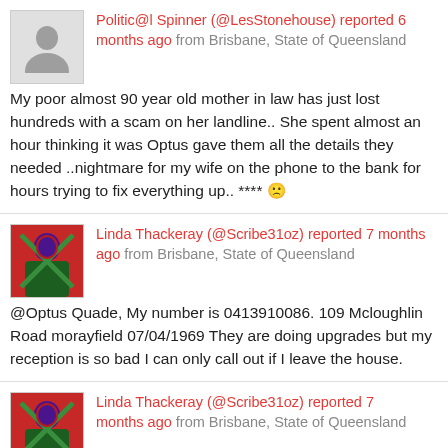Politic@l Spinner (@LesStonehouse) reported 6 months ago from Brisbane, State of Queensland
My poor almost 90 year old mother in law has just lost hundreds with a scam on her landline.. She spent almost an hour thinking it was Optus gave them all the details they needed ..nightmare for my wife on the phone to the bank for hours trying to fix everything up.. **** 🙁
Linda Thackeray (@Scribe31oz) reported 7 months ago from Brisbane, State of Queensland
@Optus Quade, My number is 0413910086. 109 Mcloughlin Road morayfield 07/04/1969 They are doing upgrades but my reception is so bad I can only call out if I leave the house.
Linda Thackeray (@Scribe31oz) reported 7 months ago from Brisbane, State of Queensland